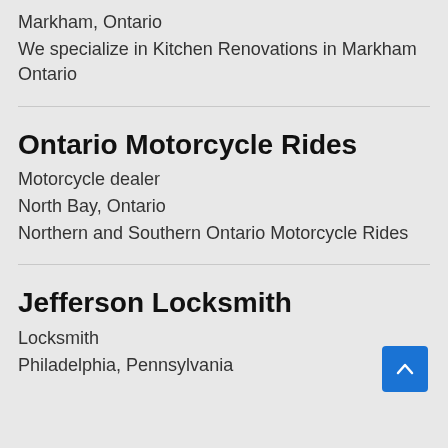Markham, Ontario
We specialize in Kitchen Renovations in Markham Ontario
Ontario Motorcycle Rides
Motorcycle dealer
North Bay, Ontario
Northern and Southern Ontario Motorcycle Rides
Jefferson Locksmith
Locksmith
Philadelphia, Pennsylvania